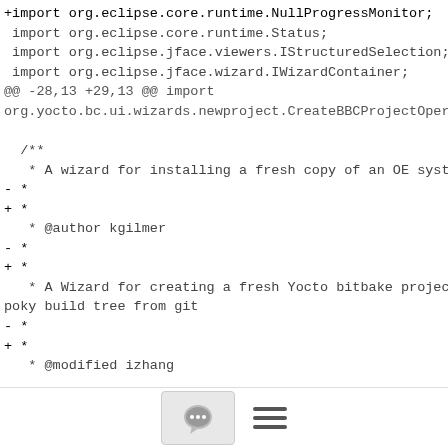+import org.eclipse.core.runtime.NullProgressMonitor;
 import org.eclipse.core.runtime.Status;
 import org.eclipse.jface.viewers.IStructuredSelection;
 import org.eclipse.jface.wizard.IWizardContainer;
@@ -28,13 +29,13 @@ import org.yocto.bc.ui.wizards.newproject.CreateBBCProjectOperation;

  /**
   * A wizard for installing a fresh copy of an OE system.
 - *
 + *
   * @author kgilmer
 - *
 + *
   * A Wizard for creating a fresh Yocto bitbake project and new poky build tree from git
 - *
 + *
   * @modified izhang
[Figure (other): Toolbar at bottom with comment bubble icon button and hamburger menu icon]